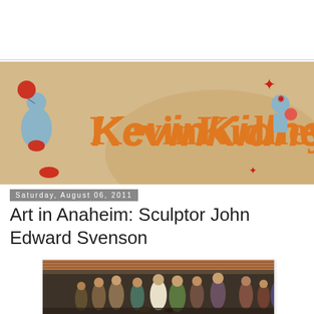[Figure (illustration): KevinKidney blog banner with orange stylized lettering 'KevinKidney' on a beige/tan background with retro cartoon figures in blue, and decorative elements in red and orange]
Saturday, August 06, 2011
Art in Anaheim: Sculptor John Edward Svenson
[Figure (photo): A painting or mural depicting a marketplace scene with many figures in historical or period costume, rendered in warm earth tones with blues and greens, displayed in what appears to be a framed setting]